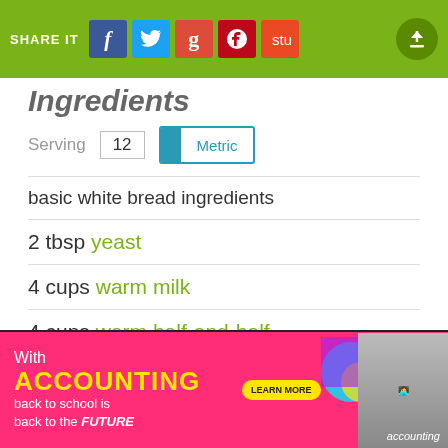SHARE IT [Facebook] [Twitter] [Google+] [Pinterest] [StumbleUpon]
Ingredients
Serving 12   Metric
basic white bread ingredients
2 tbsp yeast
4 cups warm milk
4 cups warm half-and-half
[Figure (infographic): Advertisement banner: With ACCOUNTING back to school is back to the FUTURE. LEARN MORE button. accounting logo. Colorful graphic with student.]